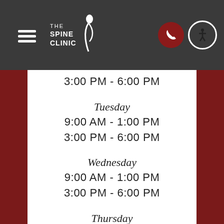[Figure (logo): The Spine Clinic logo with stylized spine figure, white text on dark grey background]
3:00 PM - 6:00 PM
Tuesday
9:00 AM - 1:00 PM
3:00 PM - 6:00 PM
Wednesday
9:00 AM - 1:00 PM
3:00 PM - 6:00 PM
Thursday
By Appointment
Friday